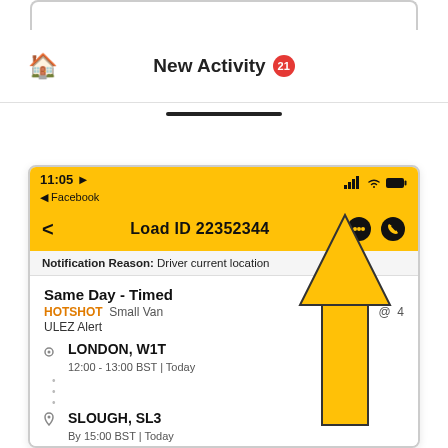[Figure (screenshot): Mobile app screenshot showing a delivery load ID 22352344 with Same Day Timed HOTSHOT job from London W1T to Slough SL3, with a yellow arrow pointing to the phone icon in the app header. Navigation bar shows 'New Activity' with badge count 21.]